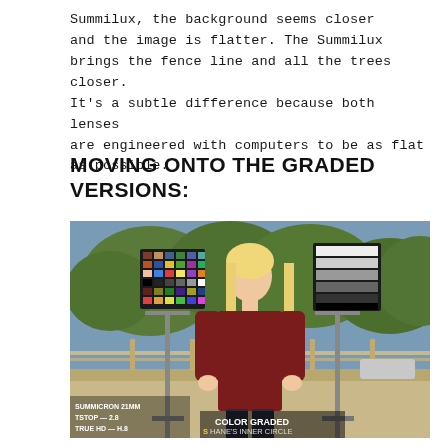Summilux, the background seems closer and the image is flatter. The Summilux brings the fence line and all the trees closer. It's a subtle difference because both lenses are engineered with computers to be as flat as possible.
MOVING ONTO THE GRADED VERSIONS:
[Figure (photo): Outdoor photography test scene showing a blonde woman in a dark red long-sleeve shirt standing between two color calibration chart stands (one on left with a colorchecker, one on right with a grayscale chart). Background shows trees, a wooden fence, and open sky. Lower left corner has text overlay: SUMMICRON 21MM / TSTOP - 2.8 / TRUE HD - H.8. Lower center has text overlay: COLOR GRADED / SHANE'S INNER CIRCLE.]